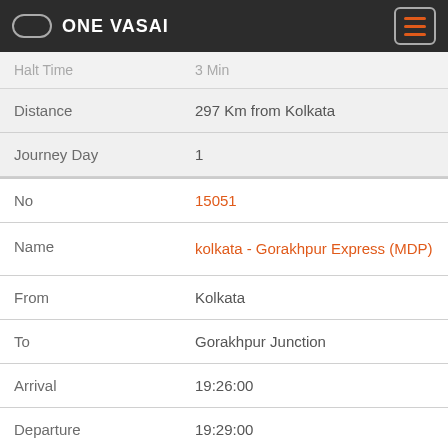ONE VASAI
| Field | Value |
| --- | --- |
| Halt Time (partial/cut) | 3 Min |
| Distance | 297 Km from Kolkata |
| Journey Day | 1 |
| No | 15051 |
| Name | kolkata - Gorakhpur Express (MDP) |
| From | Kolkata |
| To | Gorakhpur Junction |
| Arrival | 19:26:00 |
| Departure | 19:29:00 |
| DaysOfWeek | F |
| Halt Time | 3 Min |
| Distance (partial) | 297 Km from Kolkata |